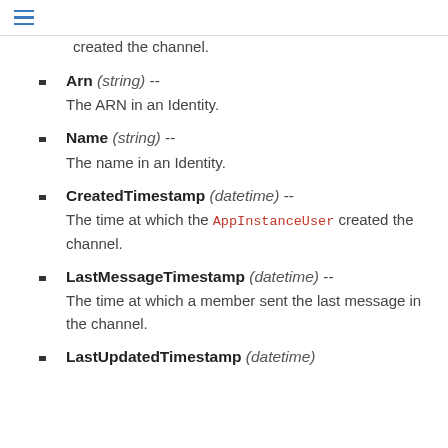≡
created the channel.
Arn (string) -- The ARN in an Identity.
Name (string) -- The name in an Identity.
CreatedTimestamp (datetime) -- The time at which the AppInstanceUser created the channel.
LastMessageTimestamp (datetime) -- The time at which a member sent the last message in the channel.
LastUpdatedTimestamp (datetime)